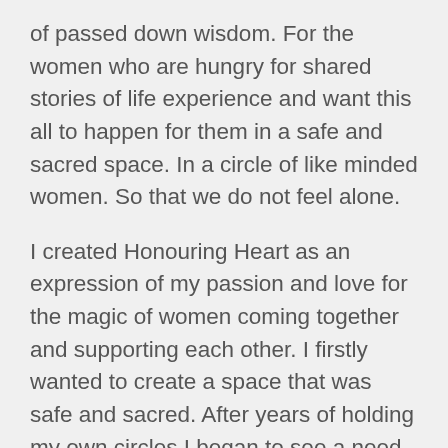of passed down wisdom. For the women who are hungry for shared stories of life experience and want this all to happen for them in a safe and sacred space. In a circle of like minded women. So that we do not feel alone.
I created Honouring Heart as an expression of my passion and love for the magic of women coming together and supporting each other. I firstly wanted to create a space that was safe and sacred. After years of holding my own circles I began to see a need for education. The core of this work we know how to do in our hearts already but what we need now, in the modern world